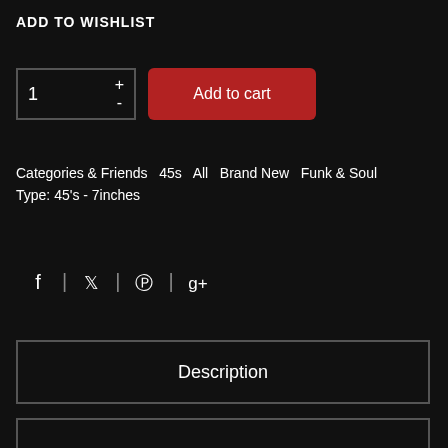ADD TO WISHLIST
1  +  -   Add to cart
Categories & Friends  45s  All  Brand New  Funk & Soul
Type: 45's - 7inches
[Figure (other): Social sharing icons: Facebook, Twitter, Pinterest, Google+]
Description